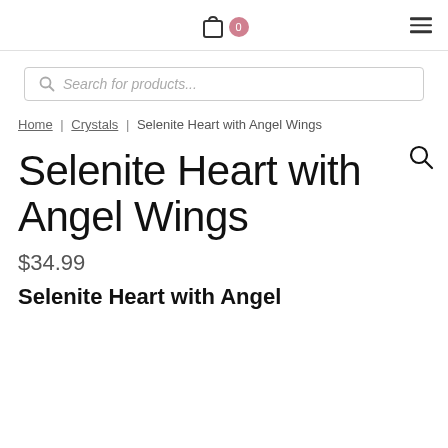Cart icon with badge 0, hamburger menu
Search for products...
Home | Crystals | Selenite Heart with Angel Wings
Selenite Heart with Angel Wings
$34.99
Selenite Heart with Angel